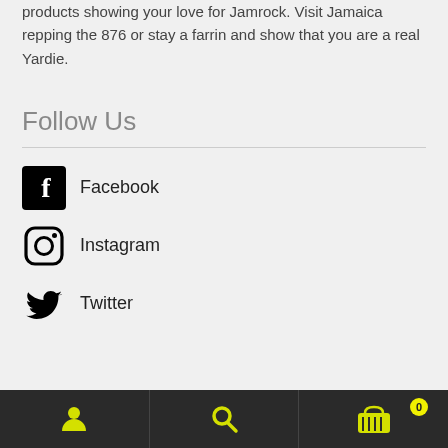products showing your love for Jamrock. Visit Jamaica repping the 876 or stay a farrin and show that you are a real Yardie.
Follow Us
Facebook
Instagram
Twitter
User icon | Search icon | Cart 0